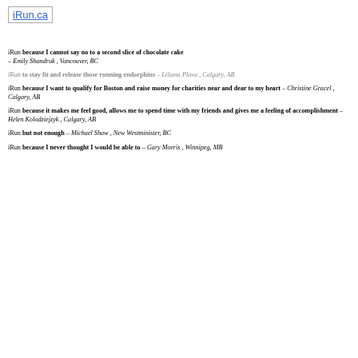[Figure (logo): iRun.ca logo/icon placeholder]
iRun because I cannot say no to a second slice of chocolate cake – Emily Shandruk , Vancouver, BC
iRun to stay fit and release those running endorphins – Liliana Plava , Calgary, AB
iRun because I want to qualify for Boston and raise money for charities near and dear to my heart – Christine Gracel , Calgary, AB
iRun because it makes me feel good, allows me to spend time with my friends and gives me a feeling of accomplishment – Helen Kolodziejzyk , Calgary, AB
iRun but not enough – Michael Shaw , New Westminister, BC
iRun because I never thought I would be able to – Gary Morris , Winnipeg, MB